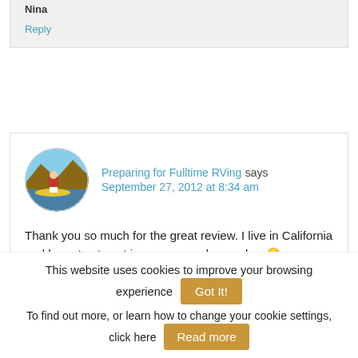Nina
Reply
[Figure (photo): Circular avatar photo of a person near water with kayaks and rocky landscape]
Preparing for Fulltime RVing says September 27, 2012 at 8:34 am
Thank you so much for the great review. I live in California and hope to stay at is campground someday. 🙂
Reply
This website uses cookies to improve your browsing experience  Got It!  To find out more, or learn how to change your cookie settings, click here  Read more